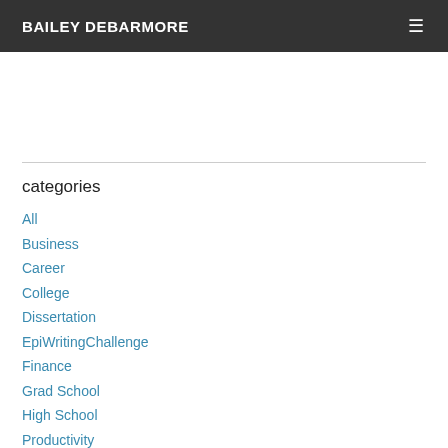BAILEY DEBARMORE
categories
All
Business
Career
College
Dissertation
EpiWritingChallenge
Finance
Grad School
High School
Productivity
Product Reviews